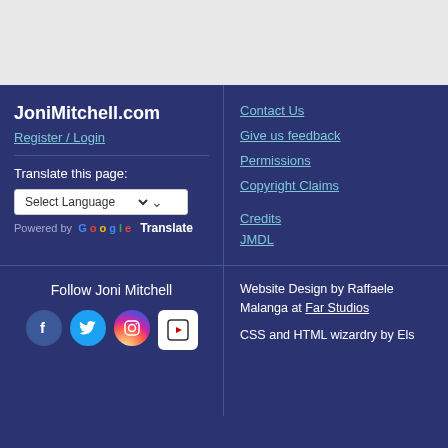JoniMitchell.com
Register / Login
Contact Us
Give us feedback
Permissions
Copyright Claims
Translate this page:
Select Language
Powered by Google Translate
Credits
JMDL
Follow Joni Mitchell
Website Design by Raffaele Malanga at Far Studios
CSS and HTML wizardry by Els